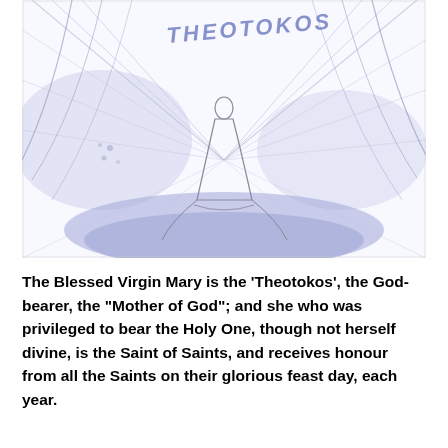[Figure (illustration): A pencil-sketch style illustration with soft blue-lavender watercolor wash. A robed figure stands at the center emitting radiant light rays spreading outward. Above, the word 'THEOTOKOS' is written in stylized blue lettering. A blue-purple cloud or ground mass is beneath the figure.]
The Blessed Virgin Mary is the 'Theotokos', the God-bearer, the "Mother of God"; and she who was privileged to bear the Holy One, though not herself divine, is the Saint of Saints, and receives honour from all the Saints on their glorious feast day, each year.